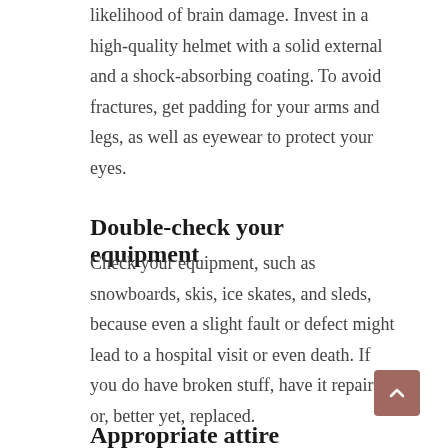likelihood of brain damage. Invest in a high-quality helmet with a solid external and a shock-absorbing coating. To avoid fractures, get padding for your arms and legs, as well as eyewear to protect your eyes.
Double-check your equipment
Check your equipment, such as snowboards, skis, ice skates, and sleds, because even a slight fault or defect might lead to a hospital visit or even death. If you do have broken stuff, have it repaired or, better yet, replaced.
Appropriate attire